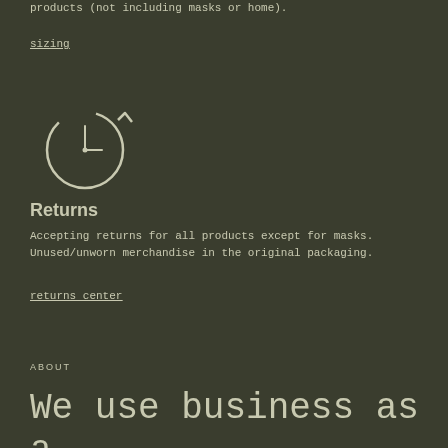products (not including masks or home).
sizing
[Figure (illustration): Clock/time icon with circular arrow indicating a return/refresh cycle, drawn in light beige outline on dark olive-green background.]
Returns
Accepting returns for all products except for masks. Unused/unworn merchandise in the original packaging.
returns center
ABOUT
We use business as a force for good.